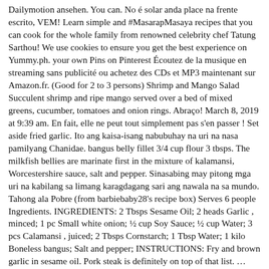Dailymotion ansehen. You can. No é solar anda place na frente escrito, VEM! Learn simple and #MasarapMasaya recipes that you can cook for the whole family from renowned celebrity chef Tatung Sarthou! We use cookies to ensure you get the best experience on Yummy.ph. your own Pins on Pinterest Écoutez de la musique en streaming sans publicité ou achetez des CDs et MP3 maintenant sur Amazon.fr. (Good for 2 to 3 persons) Shrimp and Mango Salad Succulent shrimp and ripe mango served over a bed of mixed greens, cucumber, tomatoes and onion rings. Abraço! March 8, 2019 at 9:39 am. En fait, elle ne peut tout simplement pas s'en passer ! Set aside fried garlic. Ito ang kaisa-isang nabubuhay na uri na nasa pamilyang Chanidae. bangus belly fillet 3/4 cup flour 3 tbsps. The milkfish bellies are marinate first in the mixture of kalamansi, Worcestershire sauce, salt and pepper. Sinasabing may pitong mga uri na kabilang sa limang karagdagang sari ang nawala na sa mundo. Tahong ala Pobre (from barbiebaby28's recipe box) Serves 6 people Ingredients. INGREDIENTS: 2 Tbsps Sesame Oil; 2 heads Garlic , minced; 1 pc Small white onion; ½ cup Soy Sauce; ½ cup Water; 3 pcs Calamansi , juiced; 2 Tbsps Cornstarch; 1 Tbsp Water; 1 kilo Boneless bangus; Salt and pepper; INSTRUCTIONS: Fry and brown garlic in sesame oil. Pork steak is definitely on top of that list. … What a perfect combination! baked bangus ala pobre bangus ala pobre by chef tatung bangus ala pobre by simpol bangus ala pobre calories bangus ala pobre simple bangus belly ala pobre crispy bangus ala pobre kuya j crispy bangus ala pobre recipe daing na bangus ala